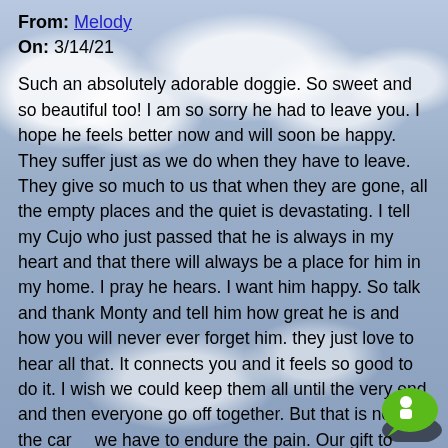From: Melody
On: 3/14/21
Such an absolutely adorable doggie. So sweet and so beautiful too! I am so sorry he had to leave you. I hope he feels better now and will soon be happy. They suffer just as we do when they have to leave. They give so much to us that when they are gone, all the empty places and the quiet is devastating. I tell my Cujo who just passed that he is always in my heart and that there will always be a place for him in my home. I pray he hears. I want him happy. So talk and thank Monty and tell him how great he is and how you will never ever forget him. they just love to hear all that. It connects you and it feels so good to do it. I wish we could keep them all until the very end and then everyone go off together. But that is not in the cards we have to endure the pain. Our gift to them for all they gave us is remembering them and honoring them with their love and always. Blessings Cujo's mom and Angel.
[Figure (illustration): Chat bubble icon with a small person figure, green speech bubble on black shadow background, bottom right corner]